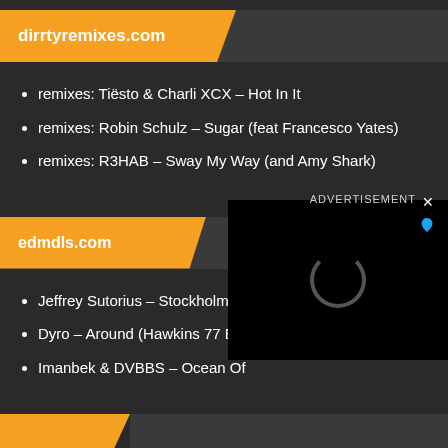dirrtyremixes.com
remixes: Tiësto & Charli XCX – Hot In It
remixes: Robin Schulz – Sugar (feat Francesco Yates)
remixes: R3HAB – Sway My Way (and Amy Shark)
edmdls.com
Jeffrey Sutorius – Stockholm (Sixth Sense) [Extended Mix]
Dyro – Around (Hawkins 77 Ex…
Imanbek & DVBBS – Ocean Of…
[Figure (screenshot): Advertisement overlay with black background, loading spinner, close button (×), advertisement label, and blue teardrop icon.]
(partial orange banner at bottom)